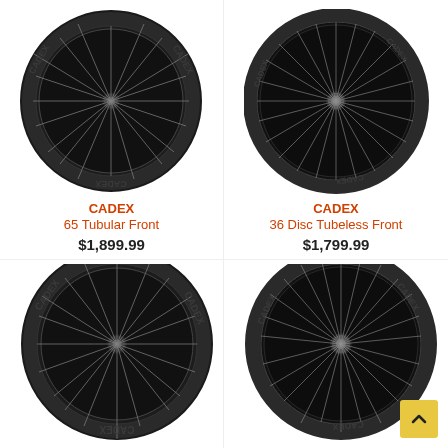[Figure (photo): CADEX carbon bicycle wheel - 65 Tubular Front, deep section rim with spokes and CADEX branding]
CADEX
65 Tubular Front
$1,899.99
[Figure (photo): CADEX carbon bicycle wheel - 36 Disc Tubeless Front, medium depth rim with spokes and CADEX branding]
CADEX
36 Disc Tubeless Front
$1,799.99
[Figure (photo): CADEX carbon bicycle wheel - lower half visible, deep section rim with spokes and CADEX branding]
[Figure (photo): CADEX carbon bicycle wheel - lower half visible, medium depth rim with many spokes and CADEX branding]